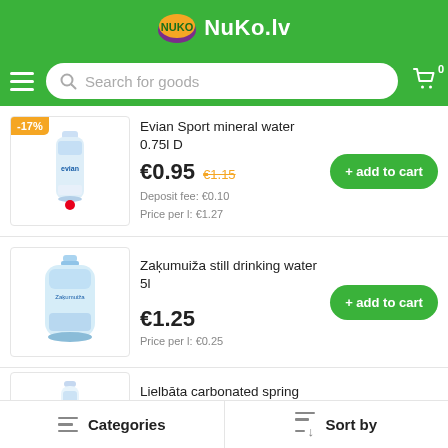NuKo.lv
Search for goods
Evian Sport mineral water 0.75l D
€0.95  €1.15
Deposit fee: €0.10
Price per l: €1.27
+ add to cart
-17%
Zaķumuiža still drinking water 5l
€1.25
Price per l: €0.25
+ add to cart
Lielbāta carbonated spring water 1.5l
€1.05
+ add to cart
Categories    Sort by